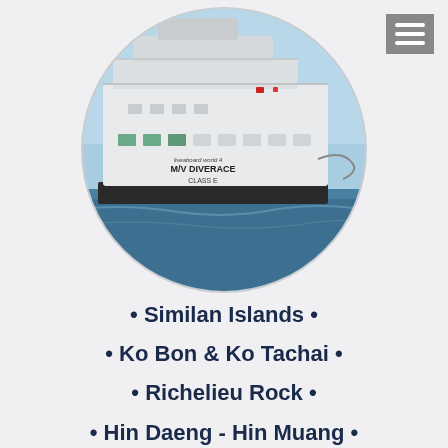[Figure (photo): A white liveaboard dive boat named MV DIVERACE CLASS E photographed on calm blue ocean water, shown inside a circular cropped frame.]
• Similan Islands •
• Ko Bon & Ko Tachai •
• Richelieu Rock •
• Hin Daeng - Hin Muang •